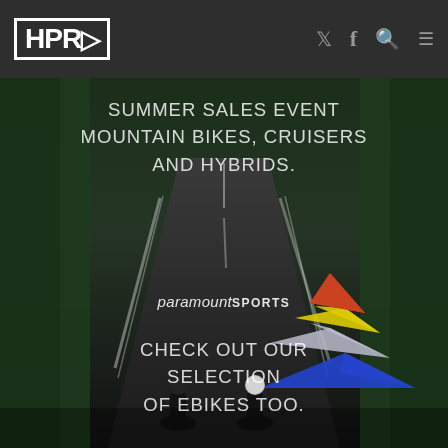HPR [logo] with Twitter, Facebook, Search, Menu icons
[Figure (photo): Hero image of two cyclists riding away on a winding road through green forested hills. Overlaid with Paramount Sports logo (stacked triangle shapes in red, yellow, grey, blue) and promotional text about a summer sales event on mountain bikes, cruisers, hybrids, and ebikes.]
SUMMER SALES EVENT MOUNTAIN BIKES, CRUISERS AND HYBRIDS.
paramountSPORTS
CHECK OUT OUR SELECTION OF EBIKES TOO.